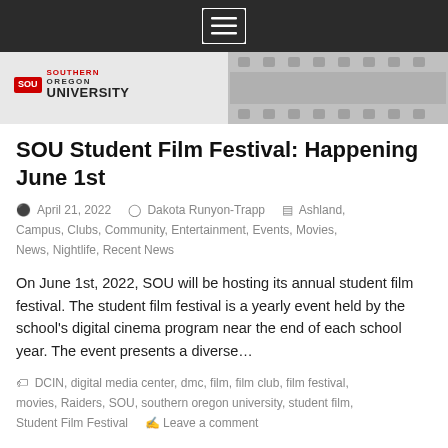[Figure (screenshot): Dark header bar with hamburger menu icon (three horizontal lines in a bordered box)]
[Figure (screenshot): Southern Oregon University logo on gray banner background with film reel graphic on the right]
SOU Student Film Festival: Happening June 1st
April 21, 2022   Dakota Runyon-Trapp   Ashland, Campus, Clubs, Community, Entertainment, Events, Movies, News, Nightlife, Recent News
On June 1st, 2022, SOU will be hosting its annual student film festival. The student film festival is a yearly event held by the school's digital cinema program near the end of each school year. The event presents a diverse…
DCIN, digital media center, dmc, film, film club, film festival, movies, Raiders, SOU, southern oregon university, student film, Student Film Festival   Leave a comment